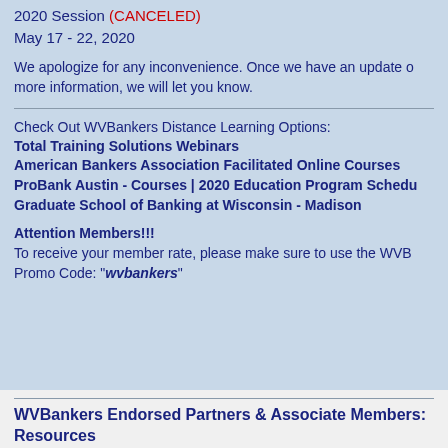2020 Session (CANCELED)
May 17 - 22, 2020
We apologize for any inconvenience. Once we have an update on more information, we will let you know.
Check Out WVBankers Distance Learning Options:
Total Training Solutions Webinars
American Bankers Association Facilitated Online Courses
ProBank Austin - Courses | 2020 Education Program Schedule
Graduate School of Banking at Wisconsin - Madison
Attention Members!!!
To receive your member rate, please make sure to use the WVB Promo Code: "wvbankers"
WVBankers Endorsed Partners & Associate Members: Resources
BKD COVID-19 Weekly Webinars
Compliance Alliance: Pandemic Planning for Banks
Deluxe Corporation as source for PPE and Covid-19 supplies